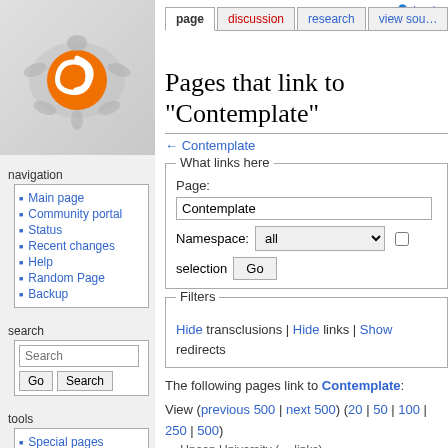[Figure (logo): Orange swirl turtle logo on light gray background]
navigation
Main page
Community portal
Status
Recent changes
Help
Random Page
Backup
search
tools
Special pages
Printable version
log in
Pages that link to "Contemplate"
← Contemplate
What links here
Page: Contemplate
Namespace: all selection Go
Filters
Hide transclusions | Hide links | Show redirects
The following pages link to Contemplate:
View (previous 500 | next 500) (20 | 50 | 100 | 250 | 500)